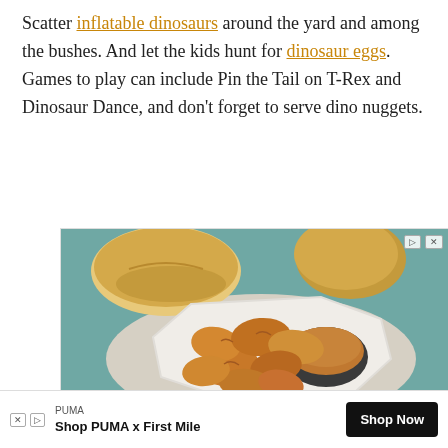Scatter inflatable dinosaurs around the yard and among the bushes. And let the kids hunt for dinosaur eggs. Games to play can include Pin the Tail on T-Rex and Dinosaur Dance, and don't forget to serve dino nuggets.
[Figure (photo): Advertisement photo showing chicken nuggets on a white octagonal plate with dipping sauce, alongside dinner rolls, on a teal wooden surface. Pollo Campero brand advertisement.]